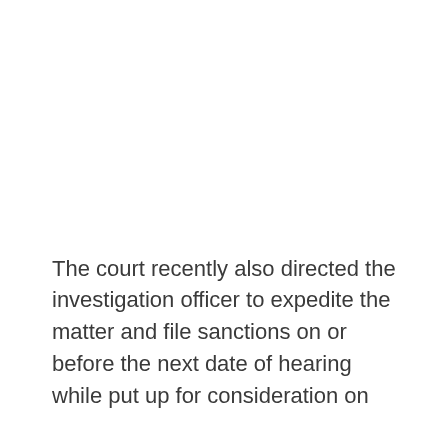The court recently also directed the investigation officer to expedite the matter and file sanctions on or before the next date of hearing while put up for consideration on